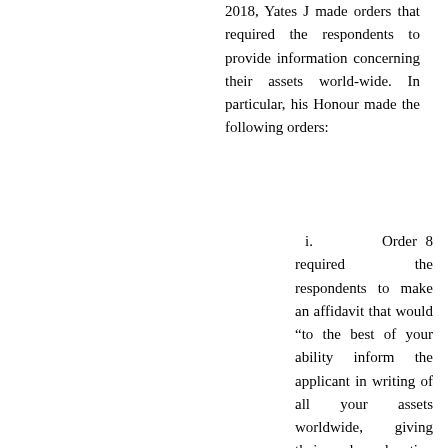2018, Yates J made orders that required the respondents to provide information concerning their assets world-wide. In particular, his Honour made the following orders:
i. Order 8 required the respondents to make an affidavit that would “to the best of your ability inform the applicant in writing of all your assets worldwide, giving their value, location and details (including any mortgages, charges or other encumbrances to which they are